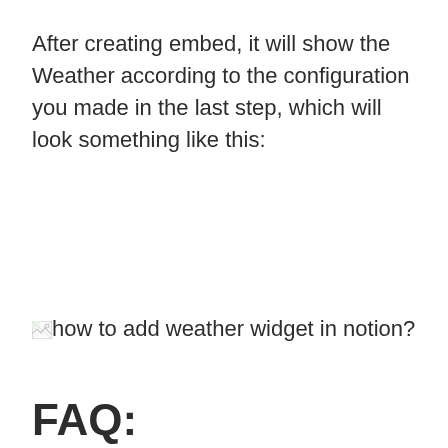After creating embed, it will show the Weather according to the configuration you made in the last step, which will look something like this:
[Figure (other): Broken image placeholder with alt text 'how to add weather widget in notion?']
FAQ: